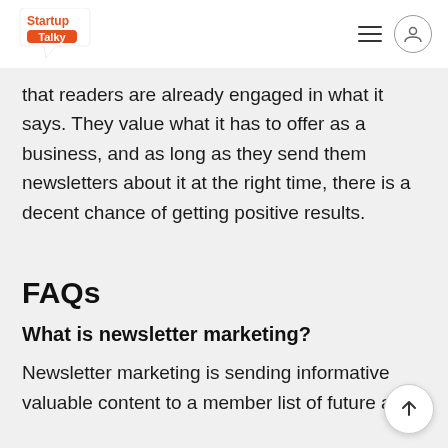StartupTalky
that readers are already engaged in what it says. They value what it has to offer as a business, and as long as they send them newsletters about it at the right time, there is a decent chance of getting positive results.
FAQs
What is newsletter marketing?
Newsletter marketing is sending informative valuable content to a member list of future and